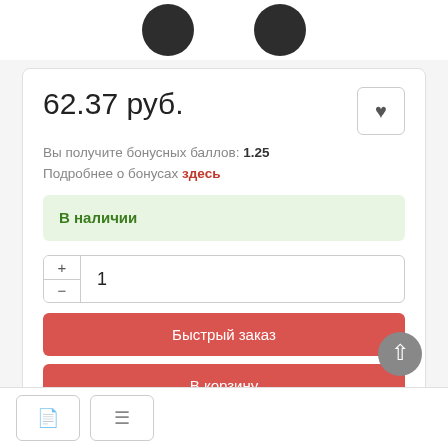[Figure (photo): Two dark circular product images partially visible at the top of the page]
62.37 руб.
Вы получите бонусных баллов: 1.25
Подробнее о бонусах здесь
В наличии
1
Быстрый заказ
В корзину